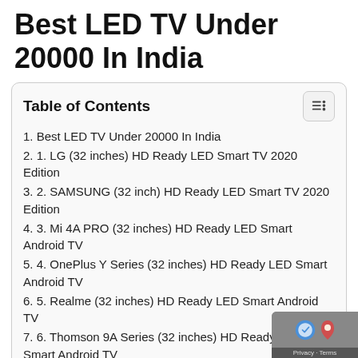Best LED TV Under 20000 In India
1. Best LED TV Under 20000 In India
2. 1. LG (32 inches) HD Ready LED Smart TV 2020 Edition
3. 2. SAMSUNG (32 inch) HD Ready LED Smart TV 2020 Edition
4. 3. Mi 4A PRO (32 inches) HD Ready LED Smart Android TV
5. 4. OnePlus Y Series (32 inches) HD Ready LED Smart Android TV
6. 5. Realme (32 inches) HD Ready LED Smart Android TV
7. 6. Thomson 9A Series (32 inches) HD Ready LED Smart Android TV
8. 7. ...